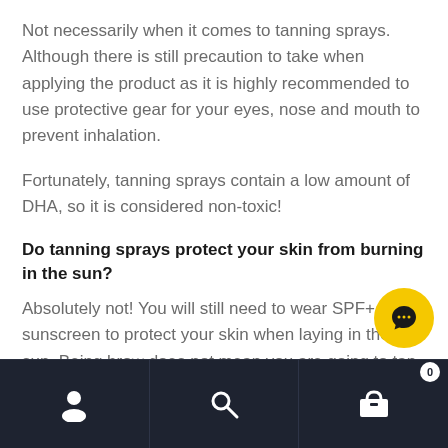Not necessarily when it comes to tanning sprays. Although there is still precaution to take when applying the product as it is highly recommended to use protective gear for your eyes, nose and mouth to prevent inhalation.
Fortunately, tanning sprays contain a low amount of DHA, so it is considered non-toxic!
Do tanning sprays protect your skin from burning in the sun?
Absolutely not! You will still need to wear SPF+ sunscreen to protect your skin when laying in the sun. Being bro... does not mean you are going to tan easier and not bu... Tanning sprays do not protect your skin as they only...
Navigation bar with user, search, and cart icons